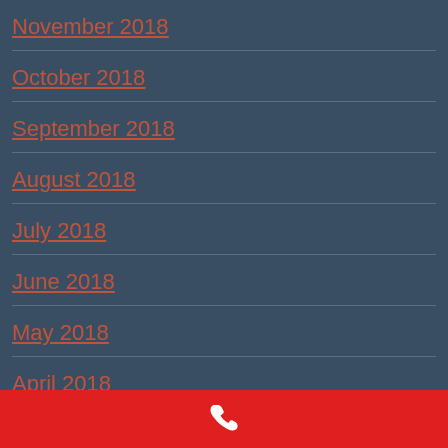November 2018
October 2018
September 2018
August 2018
July 2018
June 2018
May 2018
April 2018
[Figure (illustration): White telephone/phone handset icon on red background footer bar]